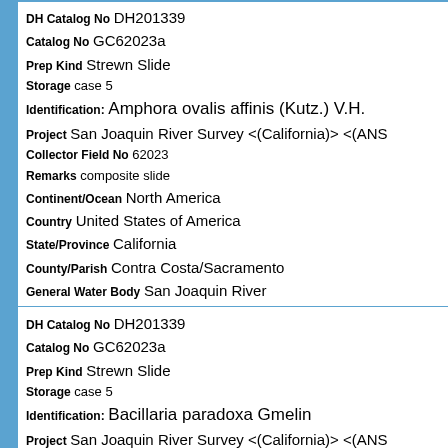DH Catalog No DH201339
Catalog No GC62023a
Prep Kind Strewn Slide
Storage case 5
Identification: Amphora ovalis affinis (Kutz.) V.H.
Project San Joaquin River Survey <(California)> <(ANS
Collector Field No 62023
Remarks composite slide
Continent/Ocean North America
Country United States of America
State/Province California
County/Parish Contra Costa/Sacramento
General Water Body San Joaquin River
DH Catalog No DH201339
Catalog No GC62023a
Prep Kind Strewn Slide
Storage case 5
Identification: Bacillaria paradoxa Gmelin
Project San Joaquin River Survey <(California)> <(ANS
Collector Field No 62023
Remarks composite slide
Continent/Ocean North America
Country United States of America
State/Province California